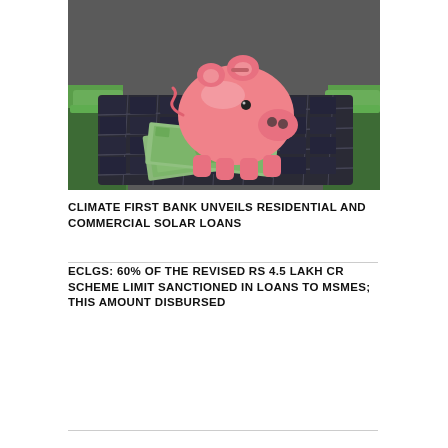[Figure (photo): A pink ceramic piggy bank sitting on a solar panel with US dollar bills underneath it, surrounded by green artificial grass.]
CLIMATE FIRST BANK UNVEILS RESIDENTIAL AND COMMERCIAL SOLAR LOANS
ECLGS: 60% OF THE REVISED RS 4.5 LAKH CR SCHEME LIMIT SANCTIONED IN LOANS TO MSMES; THIS AMOUNT DISBURSED